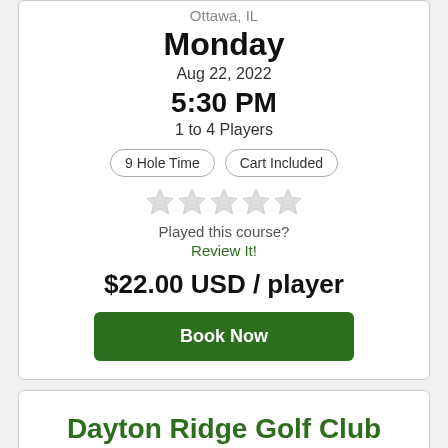Ottawa, IL
Monday
Aug 22, 2022
5:30 PM
1 to 4 Players
9 Hole Time | Cart Included
[Figure (other): Five empty star rating icons]
Played this course?
Review It!
$22.00 USD / player
Book Now
Dayton Ridge Golf Club
Ottawa, IL
Monday